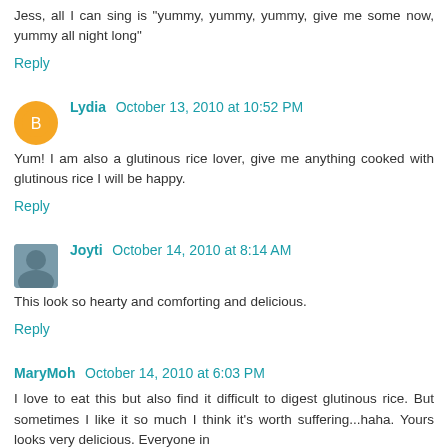Jess, all I can sing is "yummy, yummy, yummy, give me some now, yummy all night long"
Reply
Lydia  October 13, 2010 at 10:52 PM
Yum! I am also a glutinous rice lover, give me anything cooked with glutinous rice I will be happy.
Reply
Joyti  October 14, 2010 at 8:14 AM
This look so hearty and comforting and delicious.
Reply
MaryMoh  October 14, 2010 at 6:03 PM
I love to eat this but also find it difficult to digest glutinous rice. But sometimes I like it so much I think it's worth suffering...haha. Yours looks very delicious. Everyone in